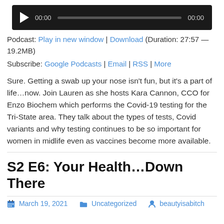[Figure (other): Audio player with play button, time display 00:00, progress bar, and end time 00:00 on dark background]
Podcast: Play in new window | Download (Duration: 27:57 — 19.2MB)
Subscribe: Google Podcasts | Email | RSS | More
Sure. Getting a swab up your nose isn’t fun, but it’s a part of life…now. Join Lauren as she hosts Kara Cannon, CCO for Enzo Biochem which performs the Covid-19 testing for the Tri-State area. They talk about the types of tests, Covid variants and why testing continues to be so important for women in midlife even as vaccines become more available.
S2 E6: Your Health…Down There
March 19, 2021  Uncategorized  beautyisabitch